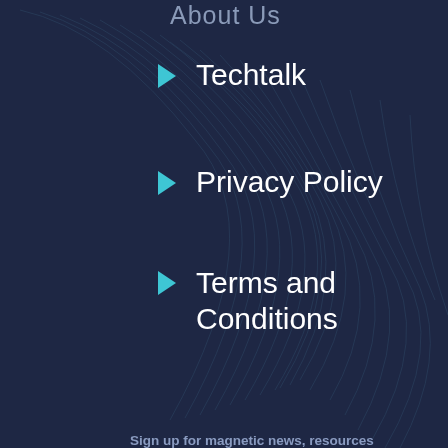About Us
Techtalk
Privacy Policy
Terms and Conditions
Sign up for magnetic news, resources and success stories:
Email address
Sign Up